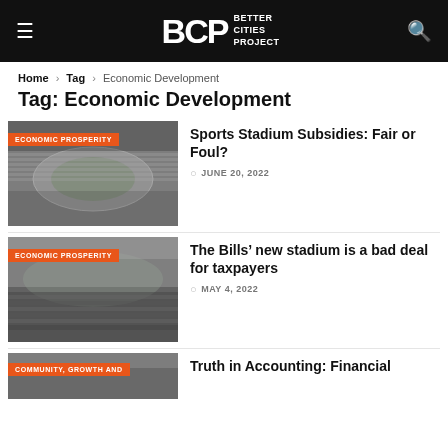BCP Better Cities Project
Home > Tag > Economic Development
Tag: Economic Development
[Figure (photo): Grayscale aerial photo of a baseball/sports stadium with ECONOMIC PROSPERITY badge]
Sports Stadium Subsidies: Fair or Foul?
JUNE 20, 2022
[Figure (photo): Grayscale photo of a football stadium crowd with ECONOMIC PROSPERITY badge]
The Bills' new stadium is a bad deal for taxpayers
MAY 4, 2022
[Figure (photo): Partial grayscale photo with COMMUNITY, GROWTH AND badge]
Truth in Accounting: Financial